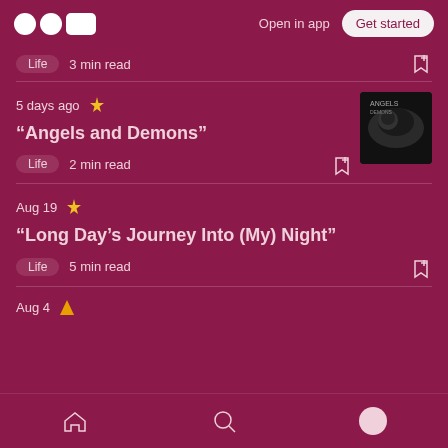Medium logo | Open in app | Get started
Life  3 min read
5 days ago ✦
“Angels and Demons”
Life  2 min read
Aug 19 ✦
“Long Day’s Journey Into (My) Night”
Life  5 min read
Aug 4
Home | Search | Profile